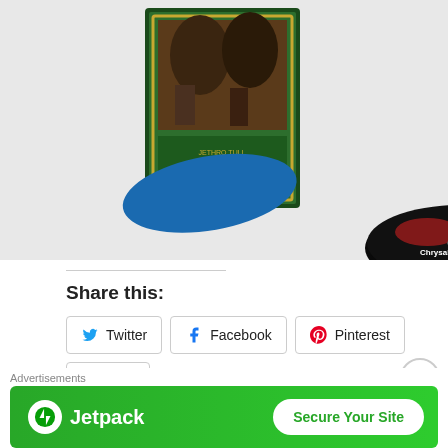[Figure (photo): Photo of a Jethro Tull CD box set with green decorative cover showing horses and people, with 4 CDs spread out in front labeled Chrysalis records]
Share this:
Twitter
Facebook
Pinterest
Print
Email
More
Advertisements
[Figure (screenshot): Jetpack advertisement banner on green background with logo and 'Secure Your Site' button]